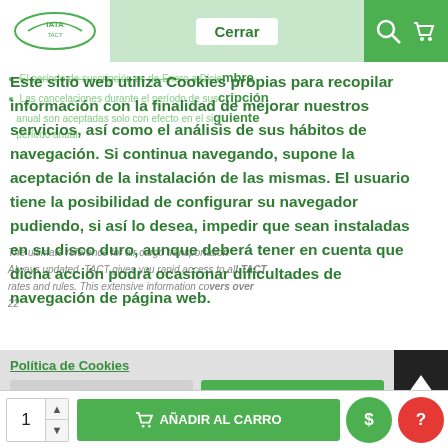Cerrar [header with logo, Cerrar button, search and cart icons]
El período de suscripción es de Enero a Diciembre
Las cancelaciones durante el período de suscripción anual son aceptadas solo con efecto en el siguiente período anual.
The ultimate reference for air cargo transportation
Always updated, TACT gives you rapid access to all TACT rates and rules. This extensive information covers over 22
Este sitio web utiliza Cookies propias para recopilar información con la finalidad de mejorar nuestros servicios, así como el análisis de sus hábitos de navegación. Si continua navegando, supone la aceptación de la instalación de las mismas. El usuario tiene la posibilidad de configurar su navegador pudiendo, si así lo desea, impedir que sean instaladas en su disco duro, aunque deberá tener en cuenta que dicha acción podrá ocasionar dificultades de navegación de página web.
Política de Cookies
Preferencias
Acepto
1
AÑADIR AL CARRO